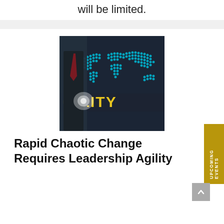will be limited.
[Figure (photo): A businessman in a dark suit and red tie holding out his hand, with a glowing digital world map in the background and the word 'GILITY' (part of 'AGILITY') in yellow text overlaid on the image.]
Rapid Chaotic Change Requires Leadership Agility